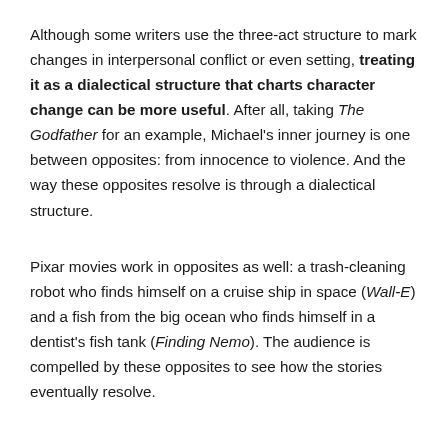Although some writers use the three-act structure to mark changes in interpersonal conflict or even setting, treating it as a dialectical structure that charts character change can be more useful. After all, taking The Godfather for an example, Michael's inner journey is one between opposites: from innocence to violence. And the way these opposites resolve is through a dialectical structure.
Pixar movies work in opposites as well: a trash-cleaning robot who finds himself on a cruise ship in space (Wall-E) and a fish from the big ocean who finds himself in a dentist's fish tank (Finding Nemo). The audience is compelled by these opposites to see how the stories eventually resolve.